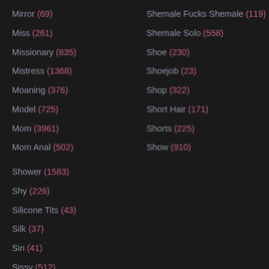Mirror (69)
Miss (261)
Missionary (835)
Mistress (1368)
Moaning (376)
Model (725)
Mom (3961)
Mom Anal (502)
Shower (1583)
Shy (226)
Silicone Tits (43)
Silk (37)
Sin (41)
Sissy (512)
Skank (98)
Shemale Fucks Shemale (119)
Shemale Solo (558)
Shoe (230)
Shoejob (23)
Shop (322)
Short Hair (171)
Shorts (225)
Show (910)